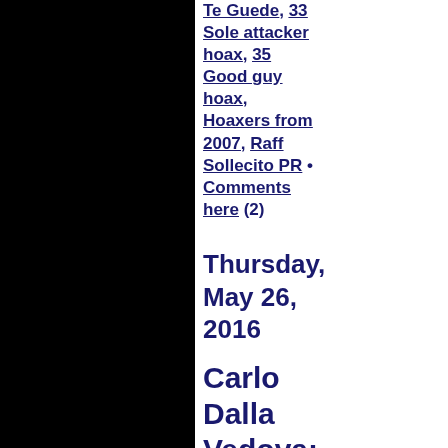Te Guede, 33 Sole attacker hoax, 35 Good guy hoax, Hoaxers from 2007, Raff Sollecito PR • Comments here (2)
Thursday, May 26, 2016
Carlo Dalla Vedova: Is ECHR